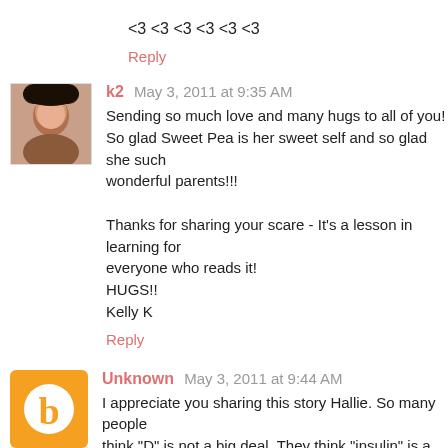<3 <3 <3 <3 <3 <3
Reply
k2  May 3, 2011 at 9:35 AM
Sending so much love and many hugs to all of you!
So glad Sweet Pea is her sweet self and so glad she such wonderful parents!!!

Thanks for sharing your scare - It's a lesson in learning for everyone who reads it!
HUGS!!
Kelly K
Reply
Unknown  May 3, 2011 at 9:44 AM
I appreciate you sharing this story Hallie. So many people think "D" is not a big deal. They think "insulin" is a CURE. It is a big deal. There is no CURE. People DIE from Diabetes.